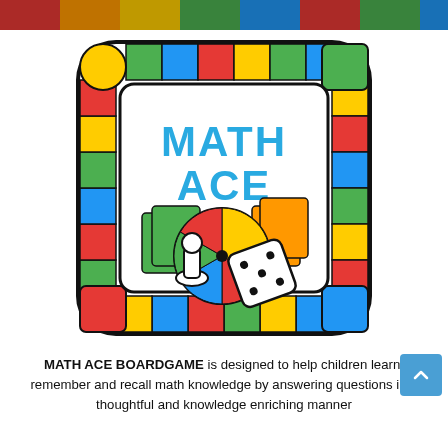[Figure (illustration): Colorful header banner strip at the top of the page showing board game related imagery]
[Figure (logo): Math Ace board game logo featuring a colorful board game track border (blue, red, yellow, green squares), white inner rounded rectangle with 'MATH ACE' text in blue blocky letters, a white pawn game piece, a spinning wheel with colored sections (yellow, red, blue, green), a white dice showing dots, and orange card pieces in the corner]
MATH ACE BOARDGAME is designed to help children learn, remember and recall math knowledge by answering questions in a thoughtful and knowledge enriching manner